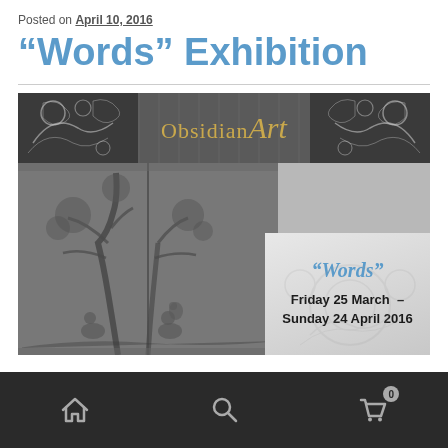Posted on April 10, 2016
“Words” Exhibition
[Figure (illustration): Obsidian Art gallery promotional image showing an intricate paper-cut book sculpture with a tree and figures, alongside text reading '“Words” Friday 25 March – Sunday 24 April 2016']
Home | Search | Cart (0)